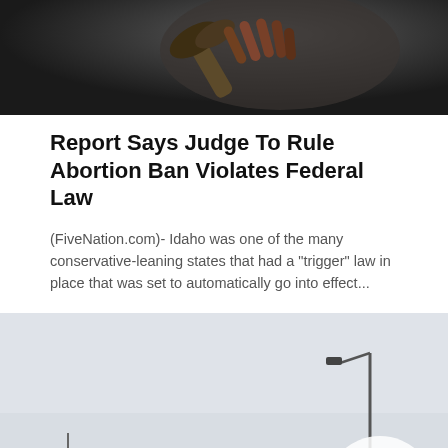[Figure (photo): Close-up photo of a judge's hand holding a gavel, dark background]
Report Says Judge To Rule Abortion Ban Violates Federal Law
(FiveNation.com)- Idaho was one of the many conservative-leaning states that had a "trigger" law in place that was set to automatically go into effect...
[Figure (photo): Photo of a street scene with a building with a dark red/maroon stripe, pale grey sky, a street lamp, and a circular play button overlay suggesting a video thumbnail]